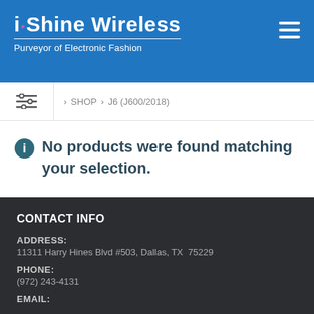[Figure (logo): i·Shine Wireless logo with tagline 'Purveyor of Electronic Fashion' on blue background, with hamburger menu icon top right]
> SHOP > J6 (J600/2018)
No products were found matching your selection.
CONTACT INFO
ADDRESS:
11311 Harry Hines Blvd #503, Dallas, TX  75229
PHONE:
(972) 243-4131
EMAIL: